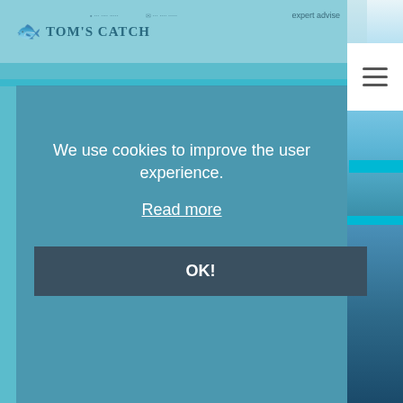[Figure (screenshot): Tom's Catch website screenshot showing cookie consent overlay on a teal/aqua background with a fish image. Right side shows a partial sky and ocean photo panel. Header shows Tom's Catch logo and hamburger menu button.]
expert advise
Tom's Catch
We use cookies to improve the user experience.
Read more
OK!